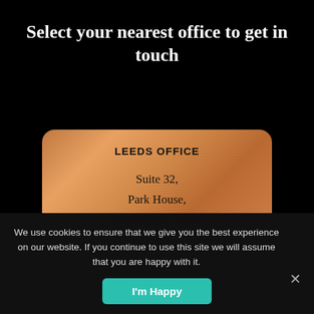Select your nearest office to get in touch
[Figure (infographic): Bronze/copper metallic card panel showing Leeds Office address: Suite 32, Park House, Park Square West, Leeds,]
LEEDS OFFICE
Suite 32,
Park House,
Park Square West,
Leeds,
We use cookies to ensure that we give you the best experience on our website. If you continue to use this site we will assume that you are happy with it.
I'm Happy